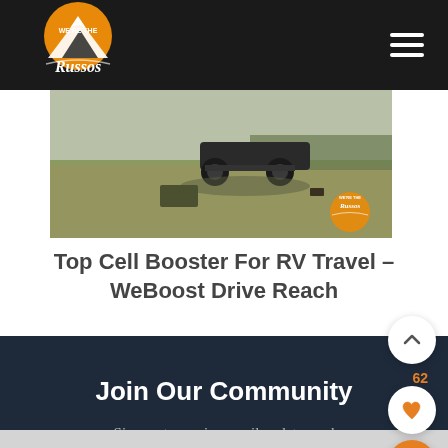We're The Russos
[Figure (photo): Outdoor field scene with a vehicle/RV axle or trailer visible in a grassy field, with a We're The Russos watermark logo in the lower right corner]
Top Cell Booster For RV Travel – WeBoost Drive Reach
Join Our Community
Sign up to receive email updates and tips from Joe and Kait.